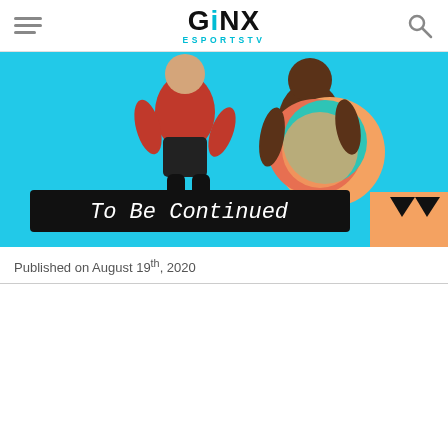GINX ESPORTSTV
[Figure (screenshot): Hero image showing animated characters with a 'To Be Continued' arrow sign overlay on a bright cyan background]
Published on August 19th, 2020